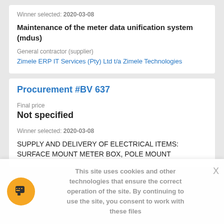Winner selected: 2020-03-08
Maintenance of the meter data unification system (mdus)
General contractor (supplier)
Zimele ERP IT Services (Pty) Ltd t/a Zimele Technologies
Procurement #BV 637
Final price
Not specified
Winner selected: 2020-03-08
SUPPLY AND DELIVERY OF ELECTRICAL ITEMS: SURFACE MOUNT METER BOX, POLE MOUNT
This site uses cookies and other technologies that ensure the correct operation of the site. By continuing to use the site, you consent to work with these files